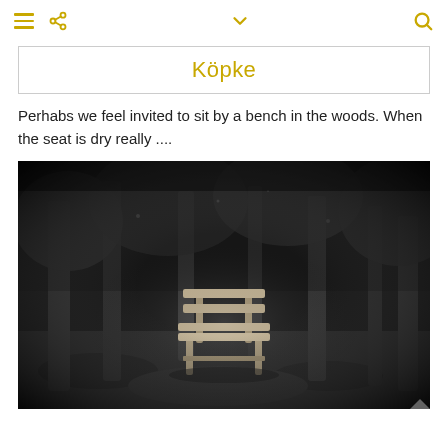≡  < [hamburger, share icons]  ∨  [chevron]  🔍 [search]
Köpke
Perhabs we feel invited to sit by a bench in the woods. When the seat is dry really ....
[Figure (photo): Black and white photograph of a wooden bench in a wooded area, surrounded by trees and ground cover. The bench is illuminated against a dark forest background.]